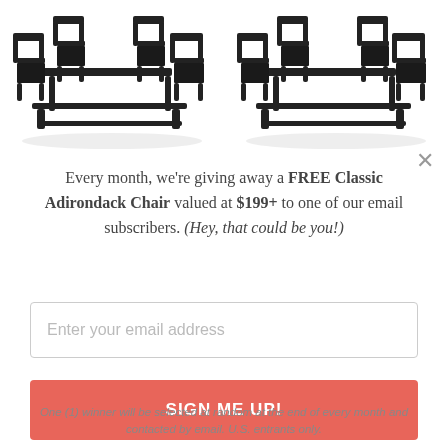[Figure (photo): Two product photos of dark outdoor dining furniture sets with chairs and benches, shown side by side at the top of the page.]
Every month, we're giving away a FREE Classic Adirondack Chair valued at $199+ to one of our email subscribers. (Hey, that could be you!)
[Figure (other): Email input text field with placeholder text 'Enter your email address']
[Figure (other): Red/coral 'SIGN ME UP!' button]
One (1) winner will be selected at random at the end of every month and contacted by email. U.S. entrants only.